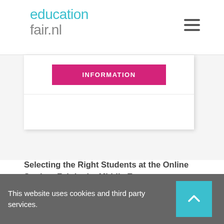[Figure (logo): educationfair.nl logo in teal and grey text with hamburger menu icon]
[Figure (screenshot): Partially visible card panel with pink INFORMATION button and white card sections]
Selecting the Right Students at the Online Student Fair in the Middle East
Online registration and AI
This website uses cookies and third party services.